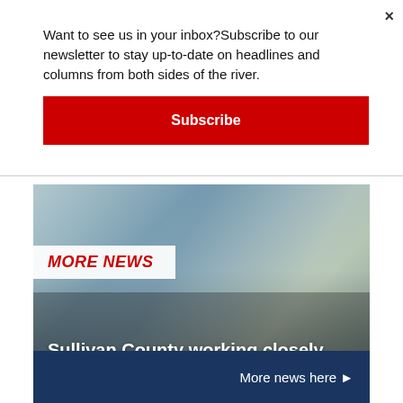Want to see us in your inbox?Subscribe to our newsletter to stay up-to-date on headlines and columns from both sides of the river.
Subscribe
MORE NEWS
Sullivan County working closely with state regarding polio response
More news here ▶